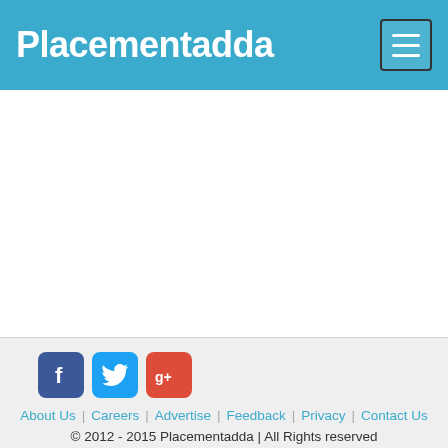Placementadda
About Us  Careers  Advertise  Feedback  Privacy  Contact Us
© 2012 - 2015 Placementadda | All Rights reserved